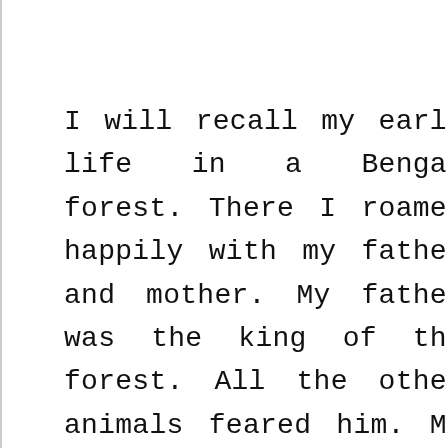I will recall my early life in a Bengal forest. There I roamed happily with my father and mother. My father was the king of the forest. All the other animals feared him. My mother killed game and fed me.